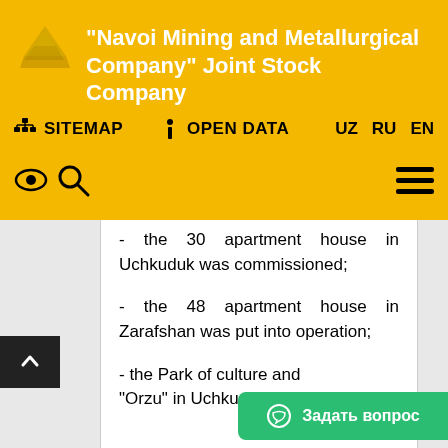[Figure (screenshot): Logo of Navoi Mining and Metallurgical Company - stylized mountain/mining icon in gold]
"Navoi Mining and Metallurgical Company" Joint Stock Company
SITEMAP   OPEN DATA   UZ   RU   EN
- the 30 apartment house in Uchkuduk was commissioned;
- the 48 apartment house in Zarafshan was put into operation;
- the Park of culture and "Orzu" in Uchkuduk